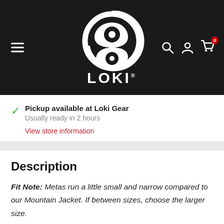[Figure (logo): Loki Gear logo — white circular S/snake graphic on black background with LOKI text below in white bold uppercase letters with registered trademark symbol]
Pickup available at Loki Gear
Usually ready in 2 hours
View store information
Description
Fit Note: Metas run a little small and narrow compared to our Mountain Jacket. If between sizes, choose the larger size.